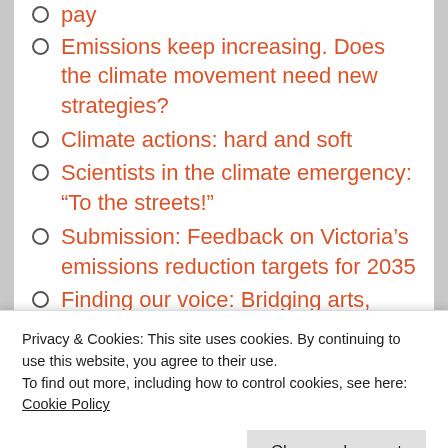pay
Emissions keep increasing. Does the climate movement need new strategies?
Climate actions: hard and soft
Scientists in the climate emergency: “To the streets!”
Submission: Feedback on Victoria’s emissions reduction targets for 2035
Finding our voice: Bridging arts, advertising and activism
Privacy & Cookies: This site uses cookies. By continuing to use this website, you agree to their use.
To find out more, including how to control cookies, see here: Cookie Policy
Close and accept